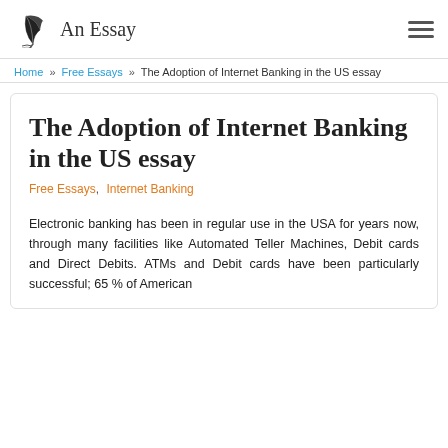An Essay
Home » Free Essays » The Adoption of Internet Banking in the US essay
The Adoption of Internet Banking in the US essay
Free Essays, Internet Banking
Electronic banking has been in regular use in the USA for years now, through many facilities like Automated Teller Machines, Debit cards and Direct Debits. ATMs and Debit cards have been particularly successful; 65 % of American